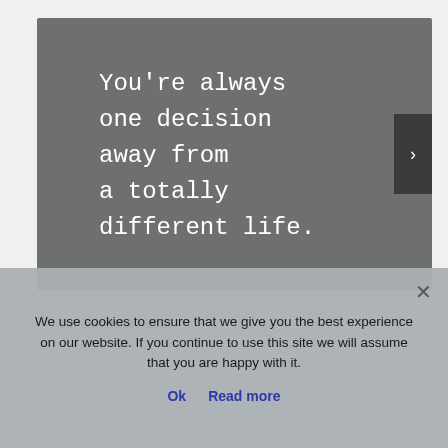[Figure (illustration): Dark gray image card displaying a motivational quote in white monospace font: 'You're always one decision away from a totally different life.' with a dark next/arrow button on the right edge.]
10. December 2016
We use cookies to ensure that we give you the best experience on our website. If you continue to use this site we will assume that you are happy with it.
Ok   Read more